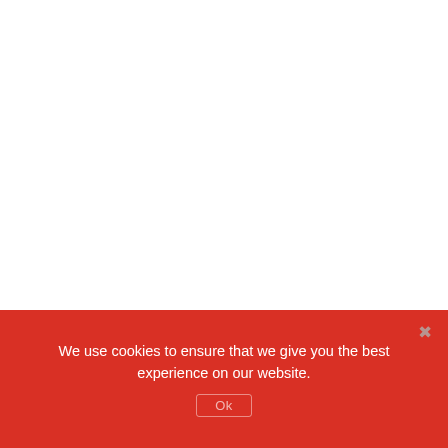We use cookies to ensure that we give you the best experience on our website.
Ok